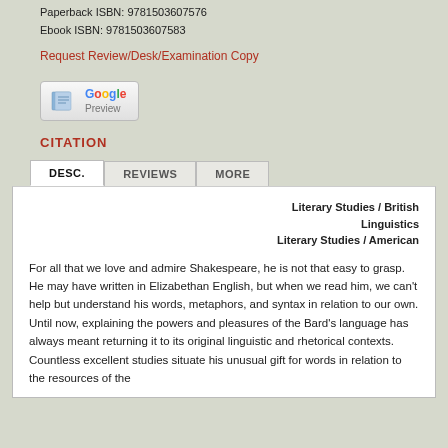Paperback ISBN: 9781503607576
Ebook ISBN: 9781503607583
Request Review/Desk/Examination Copy
[Figure (logo): Google Preview button with book icon]
CITATION
Literary Studies / British Linguistics
Literary Studies / American
For all that we love and admire Shakespeare, he is not that easy to grasp. He may have written in Elizabethan English, but when we read him, we can't help but understand his words, metaphors, and syntax in relation to our own. Until now, explaining the powers and pleasures of the Bard's language has always meant returning it to its original linguistic and rhetorical contexts. Countless excellent studies situate his unusual gift for words in relation to the resources of the